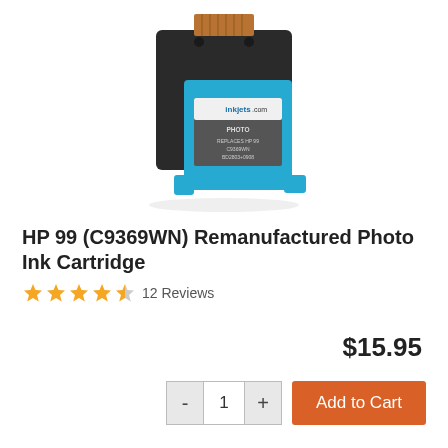[Figure (photo): HP 99 remanufactured photo ink cartridge product image, black and cyan colored ink cartridge with inkjets.com label]
HP 99 (C9369WN) Remanufactured Photo Ink Cartridge
★★★★½ 12 Reviews
$15.95
- 1 + Add to Cart